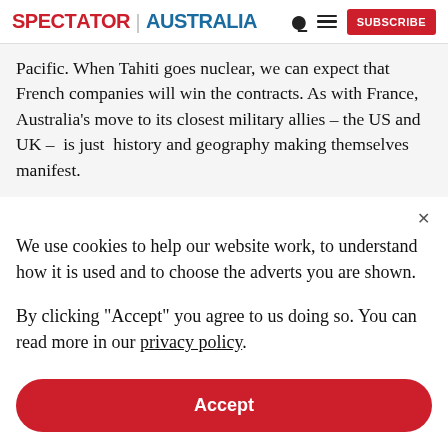SPECTATOR | AUSTRALIA
Pacific. When Tahiti goes nuclear, we can expect that French companies will win the contracts. As with France, Australia’s move to its closest military allies – the US and UK –  is just  history and geography making themselves manifest.
We use cookies to help our website work, to understand how it is used and to choose the adverts you are shown.
By clicking "Accept" you agree to us doing so. You can read more in our privacy policy.
Accept